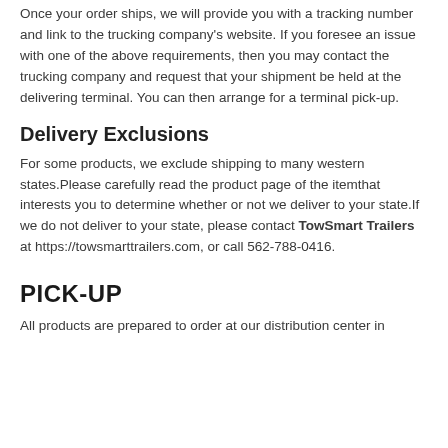Once your order ships, we will provide you with a tracking number and link to the trucking company's website. If you foresee an issue with one of the above requirements, then you may contact the trucking company and request that your shipment be held at the delivering terminal. You can then arrange for a terminal pick-up.
Delivery Exclusions
For some products, we exclude shipping to many western states.Please carefully read the product page of the itemthat interests you to determine whether or not we deliver to your state.If we do not deliver to your state, please contact TowSmart Trailers at https://towsmarttrailers.com, or call 562-788-0416.
PICK-UP
All products are prepared to order at our distribution center in